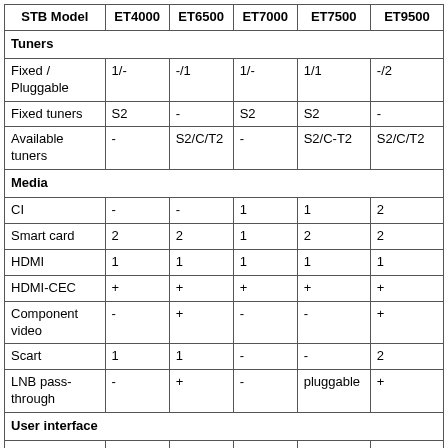| STB Model | ET4000 | ET6500 | ET7000 | ET7500 | ET9500 |
| --- | --- | --- | --- | --- | --- |
| Tuners |  |  |  |  |  |
| Fixed / Pluggable | 1/- | -/1 | 1/- | 1/1 | -/2 |
| Fixed tuners | S2 | - | S2 | S2 | - |
| Available tuners | - | S2/C/T2 | - | S2/C-T2 | S2/C/T2 |
| Media |  |  |  |  |  |
| CI | - | - | 1 | 1 | 2 |
| Smart card | 2 | 2 | 1 | 2 | 2 |
| HDMI | 1 | 1 | 1 | 1 | 1 |
| HDMI-CEC | + | + | + | + | + |
| Component video | - | + | - | - | + |
| Scart | 1 | 1 | - | - | 2 |
| LNB pass-through | - | + | - | pluggable | + |
| User interface |  |  |  |  |  |
| HBBTV / browser | + | + | - | - | + |